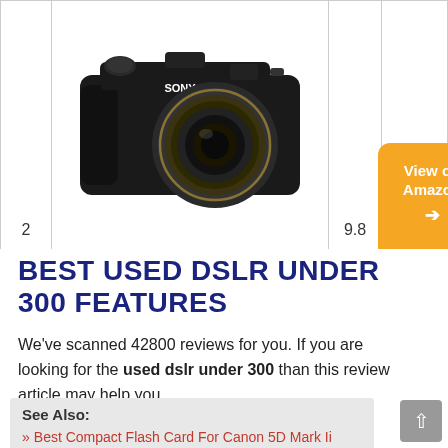[Figure (photo): Sony bridge camera, black body with large lens, top view showing controls]
2
9.8
View on Amazon →
BEST USED DSLR UNDER 300 FEATURES
We've scanned 42800 reviews for you. If you are looking for the used dslr under 300 than this review article may help you.
See Also:
» Best Compact Flash Card For Canon 5D Mark Ii